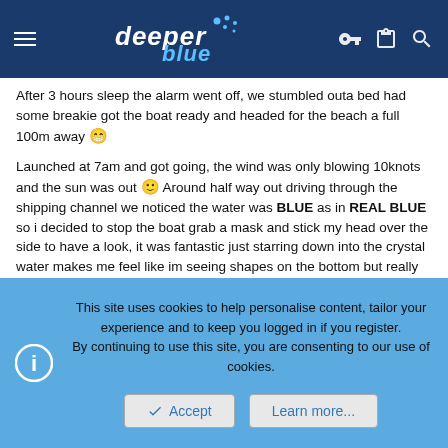deeper blue
After 3 hours sleep the alarm went off, we stumbled outa bed had some breakie got the boat ready and headed for the beach a full 100m away 😁
Launched at 7am and got going, the wind was only blowing 10knots and the sun was out 🙂 Around half way out driving through the shipping channel we noticed the water was BLUE as in REAL BLUE so i decided to stop the boat grab a mask and stick my head over the side to have a look, it was fantastic just starring down into the crystal water makes me feel like im seeing shapes on the bottom but really the water is too deep.
We kept going eventually arriving at the reef we motored around for a while looking for a bommie (We dont have a gps on the this small boat so we just search and hope) We find a nice looking bommie with bait "wooshing" on it so over the pic goes and start gearing up.
This site uses cookies to help personalise content, tailor your experience and to keep you logged in if you register.
By continuing to use this site, you are consenting to our use of cookies.